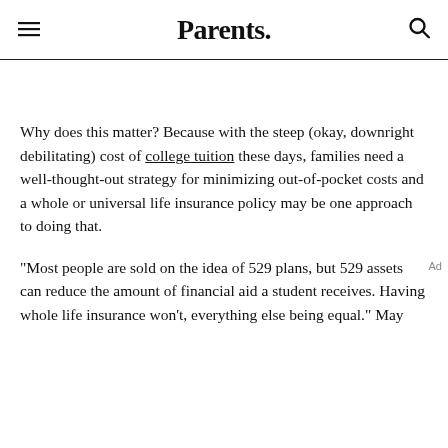Parents.
Why does this matter? Because with the steep (okay, downright debilitating) cost of college tuition these days, families need a well-thought-out strategy for minimizing out-of-pocket costs and a whole or universal life insurance policy may be one approach to doing that.
"Most people are sold on the idea of 529 plans, but 529 assets can reduce the amount of financial aid a student receives. Having whole life insurance won't, everything else being equal." May